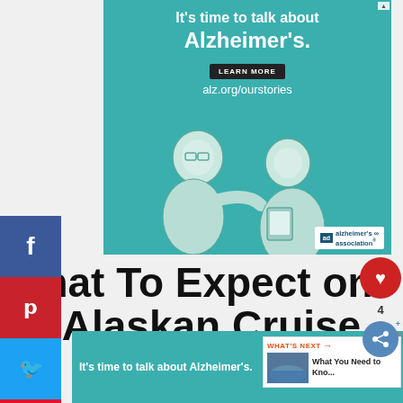[Figure (illustration): Alzheimer's Association advertisement banner with teal background. Text reads: It's time to talk about Alzheimer's. LEARN MORE button. alz.org/ourstories. Illustration of two elderly people talking. Alzheimer's Association logo bottom right.]
What To Expect on an Alaskan Cruise
[Figure (illustration): Social share sidebar with Facebook (blue f), Pinterest (red p), Twitter (blue bird), Flipboard (red f) buttons]
[Figure (other): Heart/like button with count 4 and share button]
[Figure (other): What's Next panel: What You Need to Kno... with thumbnail of water/landscape]
[Figure (illustration): Bottom Alzheimer's Association ad banner: It's time to talk about Alzheimer's. LEARN MORE button. alzheimer's association logo.]